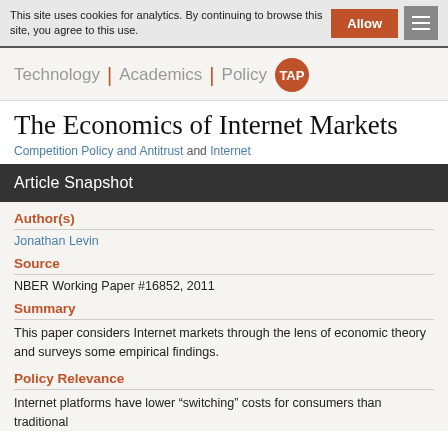This site uses cookies for analytics. By continuing to browse this site, you agree to this use.
[Figure (logo): Technology | Academics | Policy TAP logo with orange circle]
The Economics of Internet Markets
Competition Policy and Antitrust and Internet
Article Snapshot
Author(s)
Jonathan Levin
Source
NBER Working Paper #16852, 2011
Summary
This paper considers Internet markets through the lens of economic theory and surveys some empirical findings.
Policy Relevance
Internet platforms have lower “switching” costs for consumers than traditional